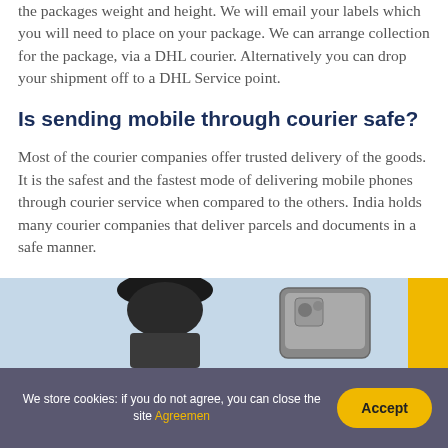the packages weight and height. We will email your labels which you will need to place on your package. We can arrange collection for the package, via a DHL courier. Alternatively you can drop your shipment off to a DHL Service point.
Is sending mobile through courier safe?
Most of the courier companies offer trusted delivery of the goods. It is the safest and the fastest mode of delivering mobile phones through courier service when compared to the others. India holds many courier companies that deliver parcels and documents in a safe manner.
[Figure (photo): Photo strip showing a person and a mobile phone, with a yellow accent strip on the right.]
We store cookies: if you do not agree, you can close the site Agreemen